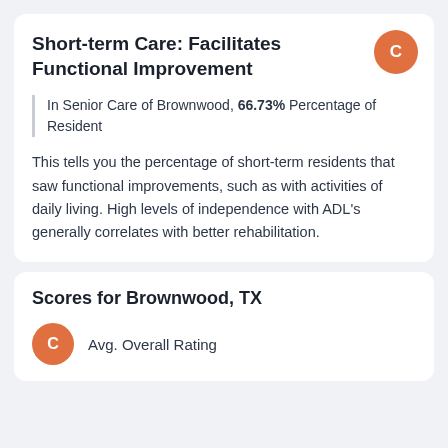Short-term Care: Facilitates Functional Improvement
In Senior Care of Brownwood, 66.73% Percentage of Resident
This tells you the percentage of short-term residents that saw functional improvements, such as with activities of daily living. High levels of independence with ADL's generally correlates with better rehabilitation.
Scores for Brownwood, TX
Avg. Overall Rating